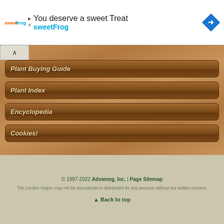[Figure (illustration): sweetFrog frozen yogurt advertisement banner with logo, headline 'You deserve a sweet Treat', brand name 'sweetFrog' in teal, and navigation map icon]
Plant Buying Guide
Plant Index
Encyclopedia
Cookies!
© 1997-2022 Advameg, Inc. | Page Sitemap
The Garden Helper may not be reproduced or distributed for any purpose without our written consent.
▲ Back to top